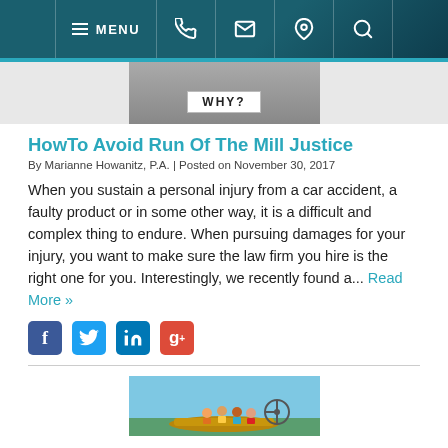MENU [navigation icons: phone, email, location, search]
[Figure (photo): Grayscale image with WHY? label overlay]
HowTo Avoid Run Of The Mill Justice
By Marianne Howanitz, P.A. | Posted on November 30, 2017
When you sustain a personal injury from a car accident, a faulty product or in some other way, it is a difficult and complex thing to endure. When pursuing damages for your injury, you want to make sure the law firm you hire is the right one for you. Interestingly, we recently found a... Read More »
[Figure (other): Social media share buttons: Facebook, Twitter, LinkedIn, Google+]
[Figure (photo): Photo of people on an airboat, outdoor scene with blue sky]